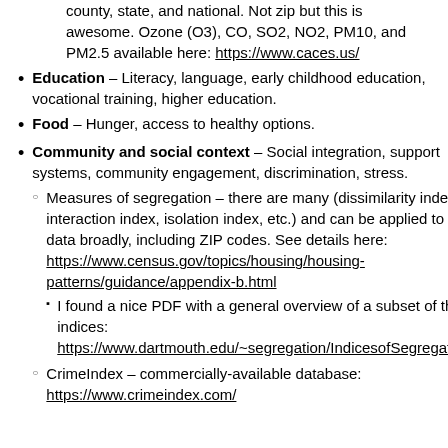Pollution metrics for census tracts, block groups, county, state, and national. Not zip but this is awesome. Ozone (O3), CO, SO2, NO2, PM10, and PM2.5 available here: https://www.caces.us/
Education – Literacy, language, early childhood education, vocational training, higher education.
Food – Hunger, access to healthy options.
Community and social context – Social integration, support systems, community engagement, discrimination, stress.
Measures of segregation – there are many (dissimilarity index, interaction index, isolation index, etc.) and can be applied to census data broadly, including ZIP codes. See details here: https://www.census.gov/topics/housing/housing-patterns/guidance/appendix-b.html
I found a nice PDF with a general overview of a subset of these indices: https://www.dartmouth.edu/~segregation/IndicesofSegregation.pdf
CrimeIndex – commercially-available database: https://www.crimeindex.com/